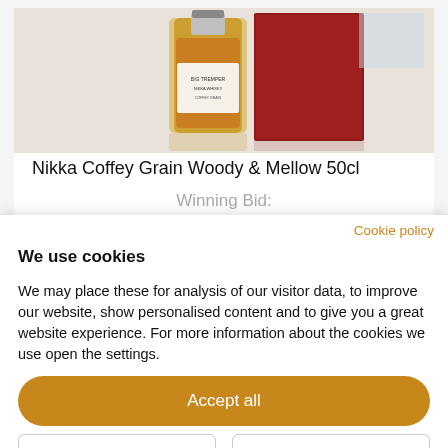[Figure (photo): Product photo of Nikka Coffey Grain whisky bottle (amber liquid, clear glass) next to a dark red box, on a reflective surface]
Nikka Coffey Grain Woody & Mellow 50cl
Winning Bid:
£25
Cookie policy
We use cookies
We may place these for analysis of our visitor data, to improve our website, show personalised content and to give you a great website experience. For more information about the cookies we use open the settings.
Accept all
Deny
No, adjust